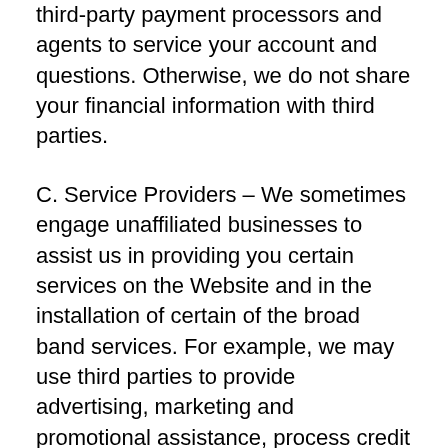third-party payment processors and agents to service your account and questions. Otherwise, we do not share your financial information with third parties.
C. Service Providers – We sometimes engage unaffiliated businesses to assist us in providing you certain services on the Website and in the installation of certain of the broad band services. For example, we may use third parties to provide advertising, marketing and promotional assistance, process credit card transactions, provide installation or construction services, provide email services, or facilitate our online services. In those instances, we may share your personally identifiable information with them for the purposes of their delivering services and processing payment for you in connection with your request. These businesses also may collect both personally identifiable information you provide and non-personal information about your visits to the Websites and other websites via cookies and web beacons to help them provide their services to us. The information collected by the cookies and Web beacons (including your IP address) will be disclosed to these